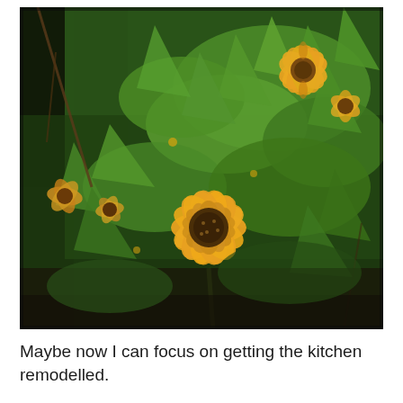[Figure (photo): Outdoor garden photo showing orange/yellow zinnia flowers with green leafy plants and stems. A prominent zinnia bloom is centered in the lower-middle of the frame, with additional blooms visible in the upper-right and left areas. Background shows dark soil and shaded foliage.]
Maybe now I can focus on getting the kitchen remodelled.